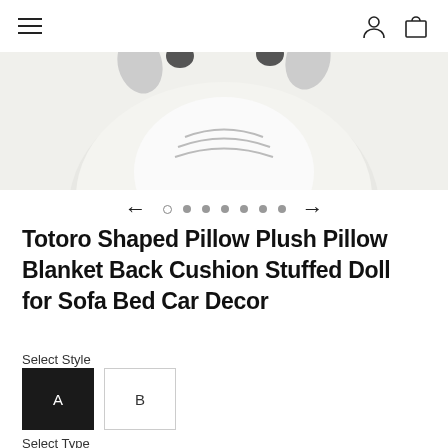Navigation header with hamburger menu, user account icon, and shopping bag icon
[Figure (photo): Close-up product photo of a white Totoro plush pillow on a light gray background, showing the bottom portion of the stuffed figure]
← ○ • • • • • • →
Totoro Shaped Pillow Plush Pillow Blanket Back Cushion Stuffed Doll for Sofa Bed Car Decor
Select Style
A  B
Select Type